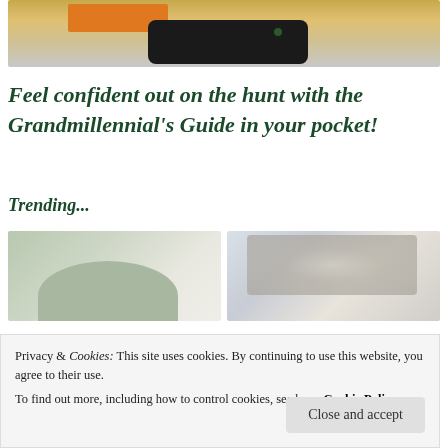[Figure (photo): Top portion of a photo showing a smartphone resting on an orange/yellow book or notebook on a light gray surface]
Feel confident out on the hunt with the Grandmillennial's Guide in your pocket!
Trending...
[Figure (photo): Thumbnail photo of a green ceramic bowl against a light background]
[Figure (photo): Thumbnail photo of a decorative chandelier with ornate script wallpaper background]
Privacy & Cookies: This site uses cookies. By continuing to use this website, you agree to their use.
To find out more, including how to control cookies, see here: Cookie Policy
Close and accept